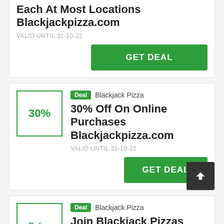Each At Most Locations Blackjackpizza.com
VALID UNTIL 31-10-22
GET DEAL
Deal  Blackjack Pizza
[Figure (other): 30% discount box with green border]
30% Off On Online Purchases Blackjackpizza.com
VALID UNTIL 31-10-22
GET DEAL
Deal  Blackjack Pizza
[Figure (other): Sales discount box with green border]
Join Blackjack Pizzas Email